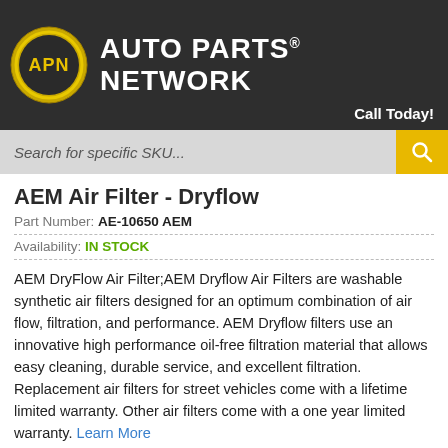[Figure (logo): Auto Parts Network logo with APN circular badge and text 'AUTO PARTS NETWORK']
Call Today!
Search for specific SKU...
AEM Air Filter - Dryflow
Part Number: AE-10650 AEM
Availability: IN STOCK
AEM DryFlow Air Filter;AEM Dryflow Air Filters are washable synthetic air filters designed for an optimum combination of air flow, filtration, and performance. AEM Dryflow filters use an innovative high performance oil-free filtration material that allows easy cleaning, durable service, and excellent filtration. Replacement air filters for street vehicles come with a lifetime limited warranty. Other air filters come with a one year limited warranty. Learn More
Price:
$46.99